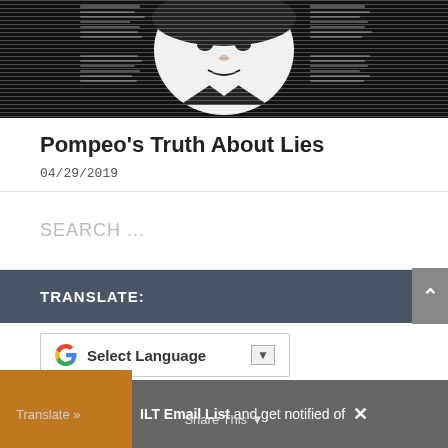[Figure (illustration): Black and white illustration of a person's face, appearing distorted or caricature-like, with newspapers or documents in background]
Pompeo's Truth About Lies
04/29/2019
SEARCH ...
TRANSLATE:
Select Language
MLT Email List and get notified of les.
Translate »
Share This